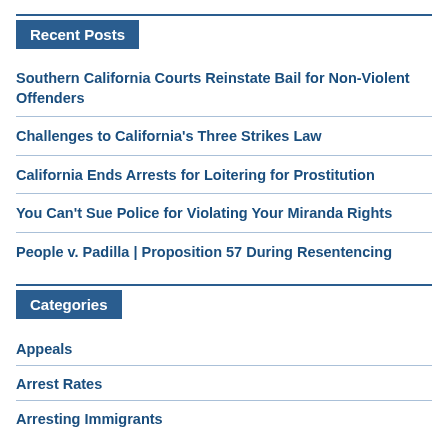Recent Posts
Southern California Courts Reinstate Bail for Non-Violent Offenders
Challenges to California's Three Strikes Law
California Ends Arrests for Loitering for Prostitution
You Can't Sue Police for Violating Your Miranda Rights
People v. Padilla | Proposition 57 During Resentencing
Categories
Appeals
Arrest Rates
Arresting Immigrants